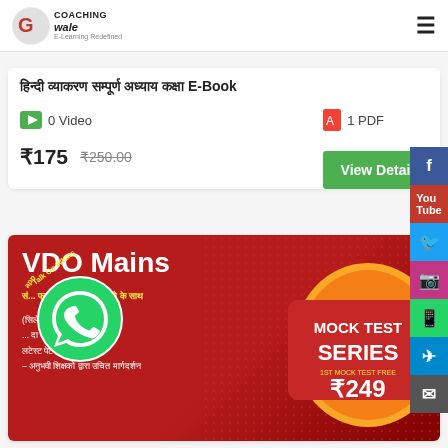CoachingWale - E-Learning Redefined
हिन्दी व्याकरण सम्पूर्ण अध्याय कक्षा E-Book
0 Video   1 PDF
₹175  ₹250.00  View Details
[Figure (infographic): VDO Mains Mock Test Series promotional banner with WhatsApp overlay. Red background with 'VDO Mains' title, subtitle in Hindi, bullets in Hindi, and a mock test series badge showing ₹249 price. WhatsApp logo with 'Talk On WhatsApp' arc text overlaid.]